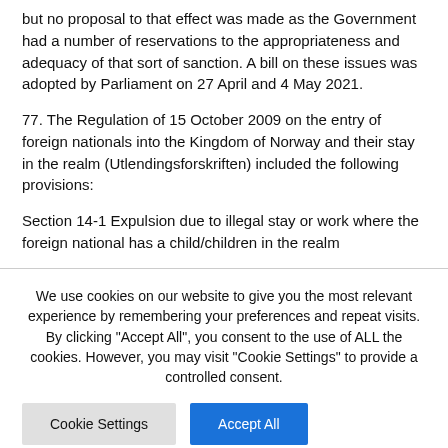but no proposal to that effect was made as the Government had a number of reservations to the appropriateness and adequacy of that sort of sanction. A bill on these issues was adopted by Parliament on 27 April and 4 May 2021.
77. The Regulation of 15 October 2009 on the entry of foreign nationals into the Kingdom of Norway and their stay in the realm (Utlendingsforskriften) included the following provisions:
Section 14-1 Expulsion due to illegal stay or work where the foreign national has a child/children in the realm
We use cookies on our website to give you the most relevant experience by remembering your preferences and repeat visits. By clicking "Accept All", you consent to the use of ALL the cookies. However, you may visit "Cookie Settings" to provide a controlled consent.